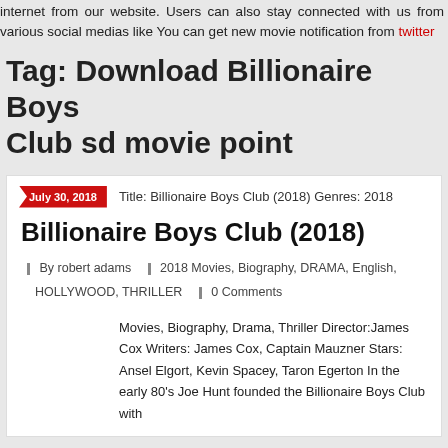internet from our website. Users can also stay connected with us from various social medias like You can get new movie notification from twitter
Tag: Download Billionaire Boys Club sd movie point
July 30, 2018  Title: Billionaire Boys Club (2018) Genres: 2018
Billionaire Boys Club (2018)
By robert adams  2018 Movies, Biography, DRAMA, English, HOLLYWOOD, THRILLER  0 Comments
Movies, Biography, Drama, Thriller Director:James Cox Writers: James Cox, Captain Mauzner Stars: Ansel Elgort, Kevin Spacey, Taron Egerton In the early 80's Joe Hunt founded the Billionaire Boys Club with